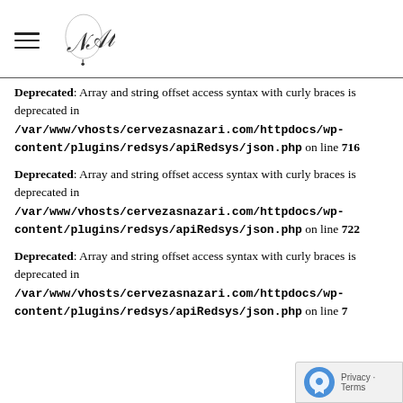[Figure (logo): Hamburger menu icon and stylized cursive logo]
Deprecated: Array and string offset access syntax with curly braces is deprecated in /var/www/vhosts/cervezasnazari.com/httpdocs/wp-content/plugins/redsys/apiRedsys/json.php on line 716
Deprecated: Array and string offset access syntax with curly braces is deprecated in /var/www/vhosts/cervezasnazari.com/httpdocs/wp-content/plugins/redsys/apiRedsys/json.php on line 722
Deprecated: Array and string offset access syntax with curly braces is deprecated in /var/www/vhosts/cervezasnazari.com/httpdocs/wp-content/plugins/redsys/apiRedsys/json.php on line 7...